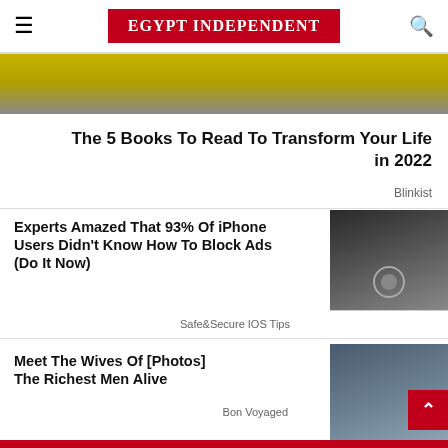EGYPT INDEPENDENT
[Figure (photo): Partial image visible at top of page, cropped photo with yellow background]
The 5 Books To Read To Transform Your Life in 2022
Blinkist
Experts Amazed That 93% Of iPhone Users Didn't Know How To Block Ads (Do It Now)
Safe&Secure IOS Tips
[Figure (photo): Hand holding a black iPhone with Apple logo visible]
Meet The Wives Of [Photos] The Richest Men Alive
Bon Voyaged
[Figure (photo): A man in a suit and a woman wearing sunglasses sitting together]